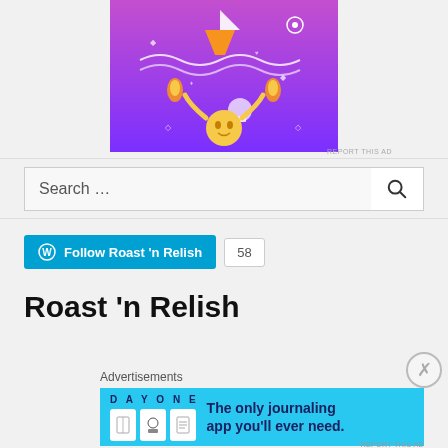[Figure (illustration): Colorful purple illustrated advertisement with cartoon sun character, boat, fire, skull, and decorative elements on a purple/pink gradient background.]
REPORT THIS AD
Search …
Follow Roast 'n Relish  58
Roast 'n Relish
Advertisements
[Figure (screenshot): DAY ONE app advertisement: 'The only journaling app you'll ever need.' with icons on light blue background.]
REPORT THIS AD